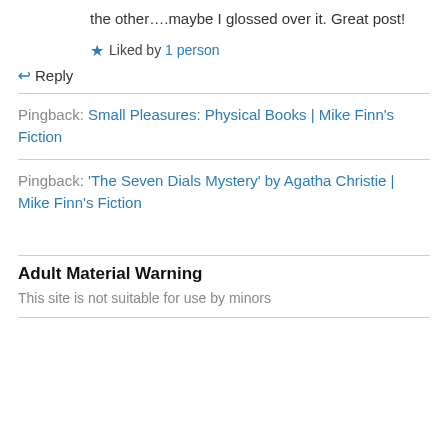the other….maybe I glossed over it. Great post!
★ Liked by 1 person
↪ Reply
Pingback: Small Pleasures: Physical Books | Mike Finn's Fiction
Pingback: 'The Seven Dials Mystery' by Agatha Christie | Mike Finn's Fiction
Adult Material Warning
This site is not suitable for use by minors